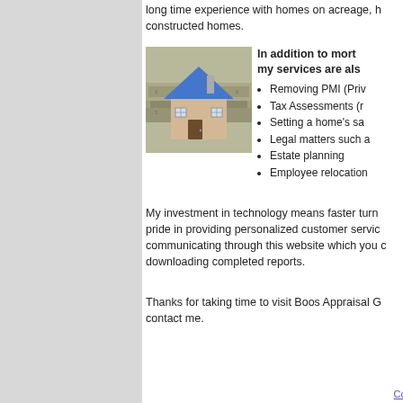long time experience with homes on acreage, h... constructed homes.
[Figure (photo): A small model house with a blue roof sitting on top of paper currency (dollar bills).]
In addition to mort... my services are als...
Removing PMI (Priv...
Tax Assessments (r...
Setting a home's sa...
Legal matters such a...
Estate planning
Employee relocation...
My investment in technology means faster turn... pride in providing personalized customer servic... communicating through this website which you c... downloading completed reports.
Thanks for taking time to visit Boos Appraisal G... contact me.
Boos A... Phone: 219-728-6001 E... Contact Us | Appraisal Info | Home ...